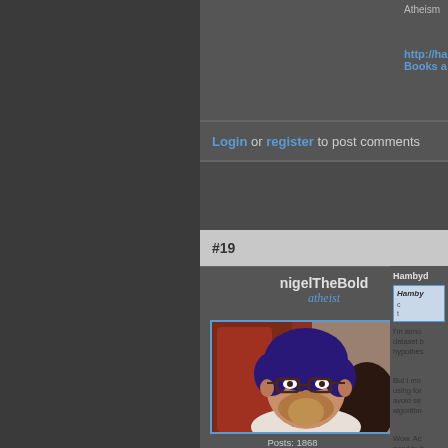Atheism
http://ha... Books a...
Login or register to post comments
#19
nigelTheBold
atheist
[Figure (photo): Profile photo of user nigelTheBold, a man with blue-tinted dark hair, glasses, and a beard wearing a white shirt]
Posts: 1868
Joined: 2008-01-25
Offline
Hambyd...
Hamby...
I'm almo... dataset b... hypothes...
But I mo... using for... avoid se... algorithn...
Wow. Ac... need to b...